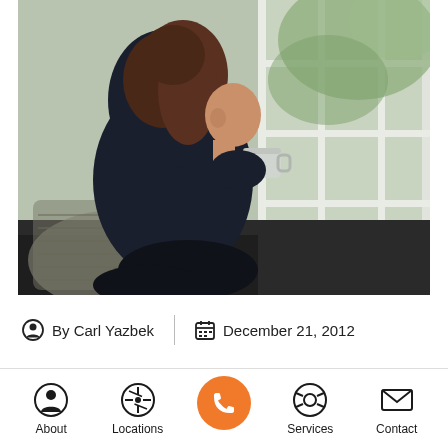[Figure (photo): A woman with brown hair sitting in a wicker chair, viewed from behind/side, holding a grey ceramic cup and looking out a large window with white frames. She wears a dark navy/black sweater. Outside the window there is greenery.]
By Carl Yazbek   |   December 21, 2012
[Figure (infographic): Bottom navigation bar with five icons: About (person/profile icon), Locations (compass icon), a central orange circle call button (phone icon), Services (life-ring/support icon), Contact (envelope/mail icon).]